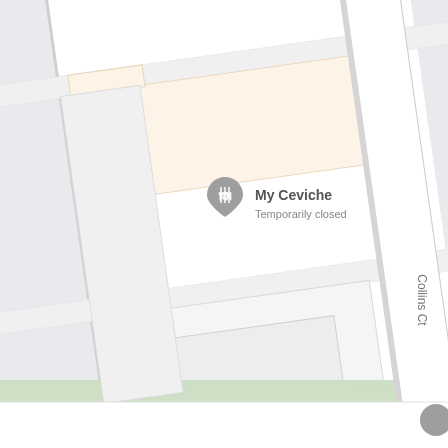[Figure (map): Google Maps screenshot showing a street-level map with a highlighted building footprint (peach/cream color) labeled 'My Ceviche – Temporarily closed' with a restaurant pin icon. The map shows Collins Ct street label on the right side, a green area at the bottom, and a language selector showing 'English' at the bottom right.]